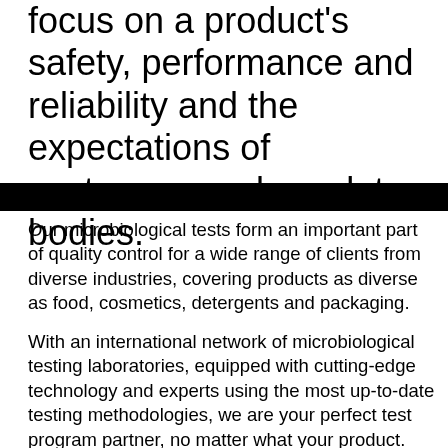focus on a product's safety, performance and reliability and the expectations of customers and regulatory bodies.
[Figure (photo): Black banner/bar image]
Our microbiological tests form an important part of quality control for a wide range of clients from diverse industries, covering products as diverse as food, cosmetics, detergents and packaging.
With an international network of microbiological testing laboratories, equipped with cutting-edge technology and experts using the most up-to-date testing methodologies, we are your perfect test program partner, no matter what your product.